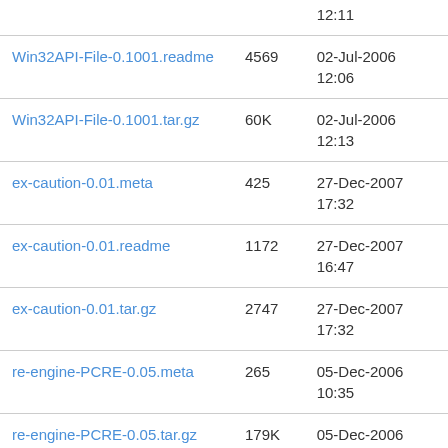| Name | Size | Date |
| --- | --- | --- |
|  |  | 12:11 |
| Win32API-File-0.1001.readme | 4569 | 02-Jul-2006
12:06 |
| Win32API-File-0.1001.tar.gz | 60K | 02-Jul-2006
12:13 |
| ex-caution-0.01.meta | 425 | 27-Dec-2007
17:32 |
| ex-caution-0.01.readme | 1172 | 27-Dec-2007
16:47 |
| ex-caution-0.01.tar.gz | 2747 | 27-Dec-2007
17:32 |
| re-engine-PCRE-0.05.meta | 265 | 05-Dec-2006
10:35 |
| re-engine-PCRE-0.05.tar.gz | 179K | 05-Dec-2006
14:06 |
| re-engine-PCRE-0.08.meta | 330 | 06-Dec-2006
14:59 |
| re-engine-PCRE-0.08.tar.gz | 151K | 06-Dec-2006
15:00 |